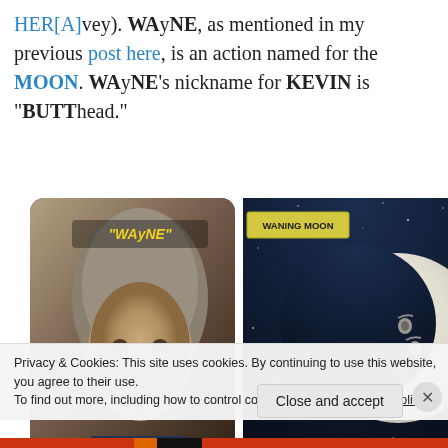HER[A]vey). WAyNE, as mentioned in my previous post here, is an action named for the MOON. WAyNE's nickname for KEVIN is "BUTThead."
[Figure (photo): Left: video still of a young person with label '"WAyNE"' in yellow italic text. Right: cartoon waning moon illustration on dark starry sky with label 'WANING MOON' in yellow-green box.]
Privacy & Cookies: This site uses cookies. By continuing to use this website, you agree to their use.
To find out more, including how to control cookies, see here: Cookie Policy